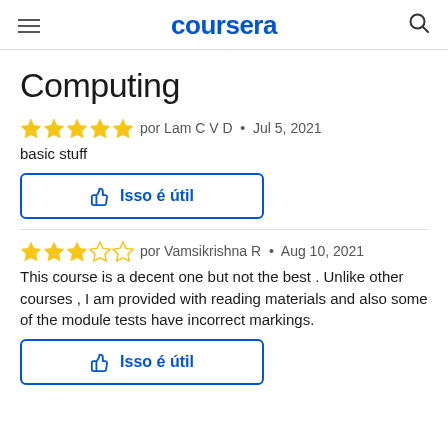coursera
Computing
por Lam C V D • Jul 5, 2021
basic stuff
Isso é útil
por Vamsikrishna R • Aug 10, 2021
This course is a decent one but not the best . Unlike other courses , I am provided with reading materials and also some of the module tests have incorrect markings.
Isso é útil